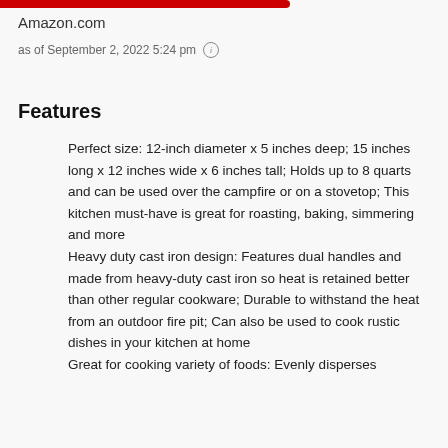Amazon.com
as of September 2, 2022 5:24 pm ℹ
Features
Perfect size: 12-inch diameter x 5 inches deep; 15 inches long x 12 inches wide x 6 inches tall; Holds up to 8 quarts and can be used over the campfire or on a stovetop; This kitchen must-have is great for roasting, baking, simmering and more
Heavy duty cast iron design: Features dual handles and made from heavy-duty cast iron so heat is retained better than other regular cookware; Durable to withstand the heat from an outdoor fire pit; Can also be used to cook rustic dishes in your kitchen at home
Great for cooking variety of foods: Evenly disperses